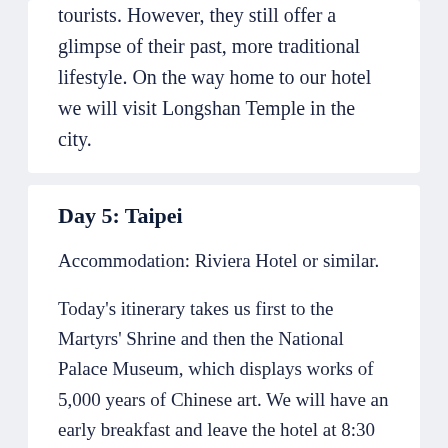tourists. However, they still offer a glimpse of their past, more traditional lifestyle. On the way home to our hotel we will visit Longshan Temple in the city.
Day 5: Taipei
Accommodation: Riviera Hotel or similar.
Today's itinerary takes us first to the Martyrs' Shrine and then the National Palace Museum, which displays works of 5,000 years of Chinese art. We will have an early breakfast and leave the hotel at 8:30 am, in time to be at the Martyrs' Shrine for the changing of the guard at 9:00 am. At the National Palace Museum, after an introductory tour with our guide, we can spend a few hours strolling through